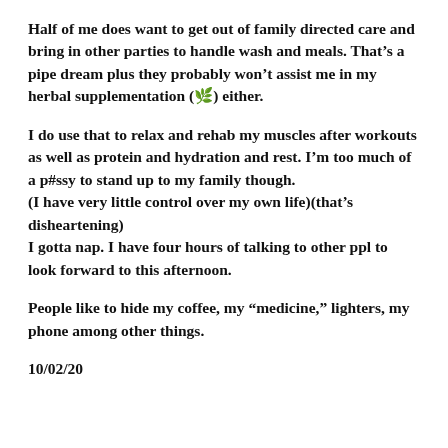Half of me does want to get out of family directed care and bring in other parties to handle wash and meals. That’s a pipe dream plus they probably won’t assist me in my herbal supplementation (🌿) either.
I do use that to relax and rehab my muscles after workouts as well as protein and hydration and rest. I’m too much of a p#ssy to stand up to my family though.
(I have very little control over my own life)(that’s disheartening)
I gotta nap. I have four hours of talking to other ppl to look forward to this afternoon.
People like to hide my coffee, my “medicine,” lighters, my phone among other things.
10/02/20